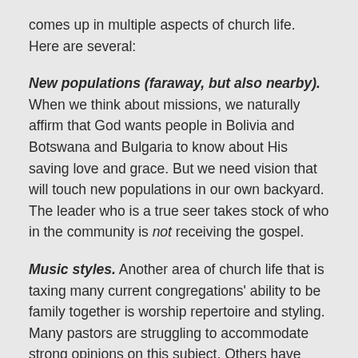comes up in multiple aspects of church life. Here are several:
New populations (faraway, but also nearby). When we think about missions, we naturally affirm that God wants people in Bolivia and Botswana and Bulgaria to know about His saving love and grace. But we need vision that will touch new populations in our own backyard. The leader who is a true seer takes stock of who in the community is not receiving the gospel.
Music styles. Another area of church life that is taxing many current congregations' ability to be family together is worship repertoire and styling. Many pastors are struggling to accommodate strong opinions on this subject. Others have simply opted to go with